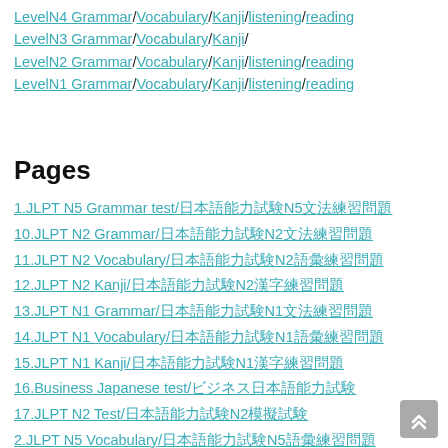LevelN4 Grammar/Vocabulary/Kanji/listening/reading LevelN3 Grammar/Vocabulary/Kanji/ LevelN2 Grammar/Vocabulary/Kanji/listening/reading LevelN1 Grammar/Vocabulary/Kanji/listening/reading
Pages
1.JLPT N5 Grammar test/日本語能力試験N5文法練習問題
10.JLPT N2 Grammar/日本語能力試験N2文法練習問題
11.JLPT N2 Vocabulary/日本語能力試験N2語彙練習問題
12.JLPT N2 Kanji/日本語能力試験N2漢字練習問題
13.JLPT N1 Grammar/日本語能力試験N1文法練習問題
14.JLPT N1 Vocabulary/日本語能力試験N1語彙練習問題
15.JLPT N1 Kanji/日本語能力試験N1漢字練習問題
16.Business Japanese test/ビジネス日本語能力試験
17.JLPT N2 Test/日本語能力試験N2模擬試験
2.JLPT N5 Vocabulary/日本語能力試験N5語彙練習問題
3.JLPT N5 Kanji test/日本語能力試験N5漢字練習問題
4.JLPT N4 Grammar/日本語能力試験N4文法練習問題